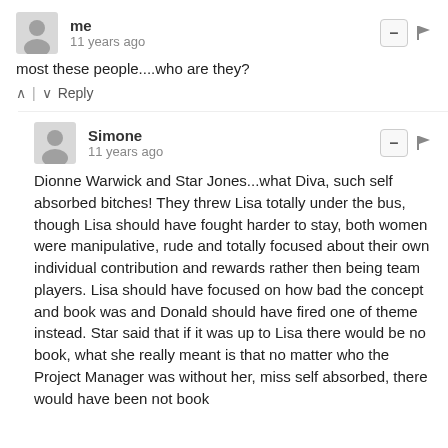me
11 years ago
most these people....who are they?
^ | v   Reply
Simone
11 years ago
Dionne Warwick and Star Jones...what Diva, such self absorbed bitches! They threw Lisa totally under the bus, though Lisa should have fought harder to stay, both women were manipulative, rude and totally focused about their own individual contribution and rewards rather then being team players. Lisa should have focused on how bad the concept and book was and Donald should have fired one of theme instead. Star said that if it was up to Lisa there would be no book, what she really meant is that no matter who the Project Manager was without her, miss self absorbed, there would have been not book